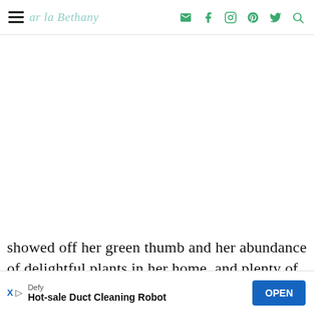ar la Bethany
[Figure (other): White blank advertisement space area in the middle of the page]
showed off her green thumb and her abundance of delightful plants in her home, and plenty of bold color as well!
Defy Hot-sale Duct Cleaning Robot OPEN